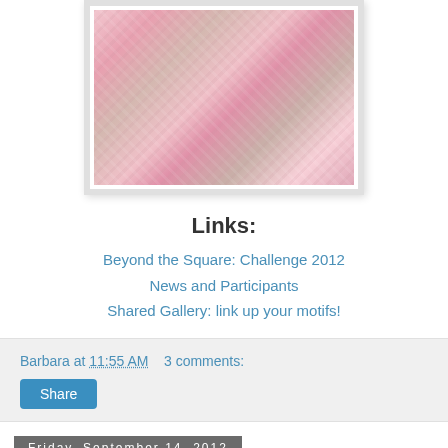[Figure (photo): Close-up photo of pink and beige crochet motif, showing textured yarn work with a decorative frame/border]
Links:
Beyond the Square: Challenge 2012
News and Participants
Shared Gallery: link up your motifs!
Barbara at 11:55 AM   3 comments:
Share
Friday, September 14, 2012
Monthly Theme Party